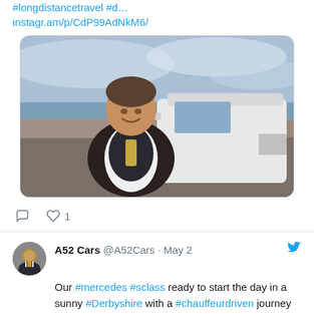#longdistancetravel #d… instagr.am/p/CdP99AdNkM6/
[Figure (photo): Man in suit waistcoat and tie taking a selfie in front of a white Mercedes van/MPV parked by a seafront road with sea and cloudy sky in background]
comment icon  heart icon 1
A52 Cars @A52Cars · May 2
Our #mercedes #sclass ready to start the day in a sunny #Derbyshire with a #chauffeurdriven journey to and from #London.

#a52cars are available for any #Chauffeur hire in #derby and the surrounding area.